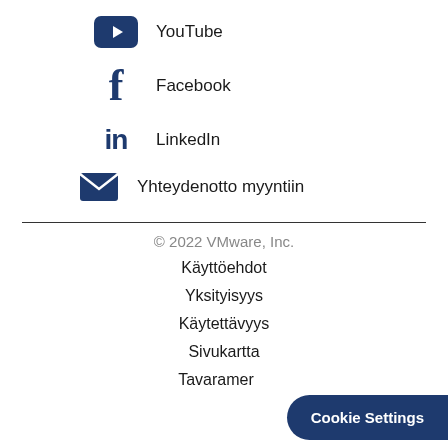YouTube
Facebook
LinkedIn
Yhteydenotto myyntiin
© 2022 VMware, Inc.
Käyttöehdot
Yksityisyys
Käytettävyys
Sivukartta
Tavaramerkit
Cookie Settings